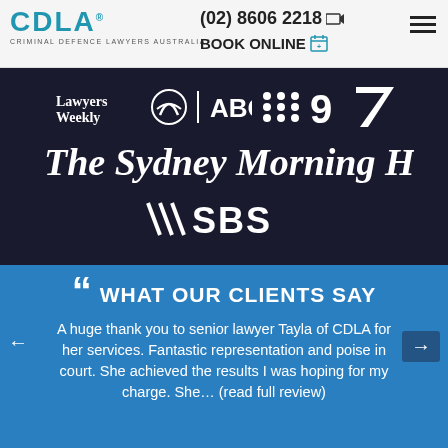[Figure (logo): CDLA Criminal Defence Lawyers Australia logo in blue]
(02) 8606 2218
BOOK ONLINE
[Figure (illustration): Media logos on dark background: Lawyers Weekly, ABC, ABC, Nine, Channel 7, The Sydney Morning Herald, SBS]
WHAT OUR CLIENTS SAY
A huge thank you to senior lawyer Tayla of CDLA for her services. Fantastic representation and poise in court. She achieved the results I was hoping for my charge. She… (read full review)